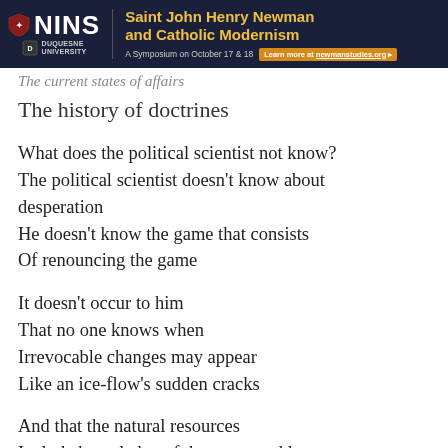[Figure (other): Advertisement banner for NINS / Duquesne University symposium: Saint John Henry Newman and Catholic Modernism, A Symposium on October 17 & 18, Learn more at newmanstudies.org]
The current states of affairs
The history of doctrines
What does the political scientist not know?
The political scientist doesn't know about desperation
He doesn't know the game that consists
Of renouncing the game
It doesn't occur to him
That no one knows when
Irrevocable changes may appear
Like an ice-flow's sudden cracks
And that the natural resources
Include knowledge of the venerated laws